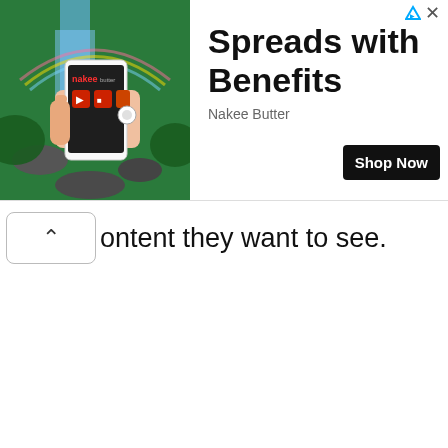[Figure (photo): Advertisement banner showing a hand holding a Nakee Butter branded phone case/product in front of a green waterfall background. Ad text reads 'Spreads with Benefits' by Nakee Butter with a 'Shop Now' button.]
ontent they want to see.